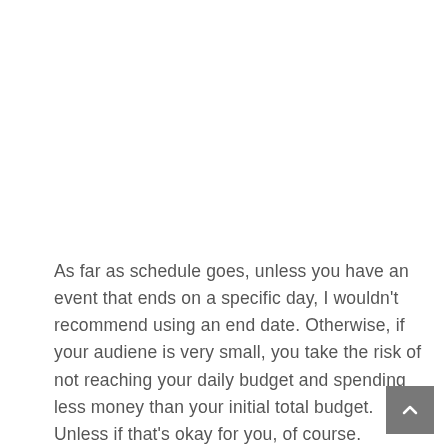As far as schedule goes, unless you have an event that ends on a specific day, I wouldn't recommend using an end date. Otherwise, if your audiene is very small, you take the risk of not reaching your daily budget and spending less money than your initial total budget. Unless if that's okay for you, of course.